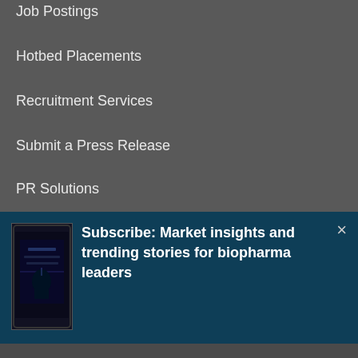Job Postings
Hotbed Placements
Recruitment Services
Submit a Press Release
PR Solutions
[Figure (screenshot): BioSpace subscription banner with phone image showing 'Subscribe: Market insights and trending stories for biopharma leaders' on dark teal background]
We use cookies to give you a better BioSpace experience. By continuing to use our site, you are agreeing to the use of cookies as set in our Privacy Policy.
Accept